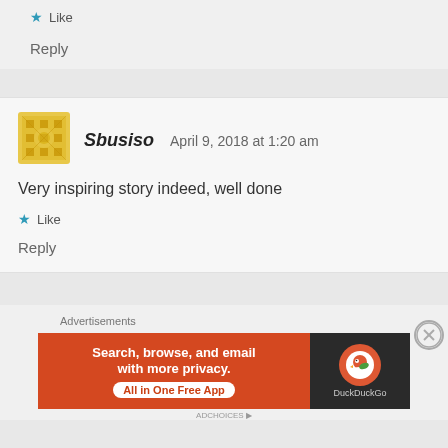★ Like
Reply
[Figure (illustration): Yellow geometric/ornamental avatar icon for user Sbusiso]
Sbusiso   April 9, 2018 at 1:20 am
Very inspiring story indeed, well done
★ Like
Reply
Advertisements
[Figure (screenshot): DuckDuckGo advertisement banner: 'Search, browse, and email with more privacy. All in One Free App' on orange background with DuckDuckGo logo on dark background]